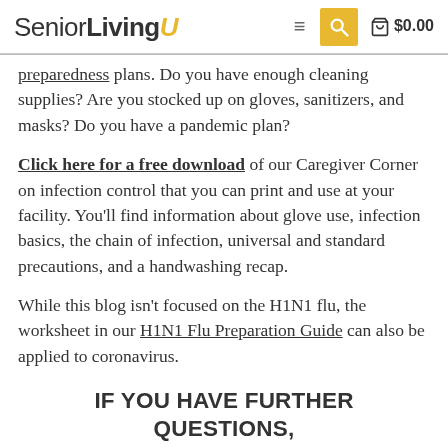SeniorLivingU — navigation header with search and cart ($0.00)
preparedness plans. Do you have enough cleaning supplies? Are you stocked up on gloves, sanitizers, and masks? Do you have a pandemic plan?
Click here for a free download of our Caregiver Corner on infection control that you can print and use at your facility. You'll find information about glove use, infection basics, the chain of infection, universal and standard precautions, and a handwashing recap.
While this blog isn't focused on the H1N1 flu, the worksheet in our H1N1 Flu Preparation Guide can also be applied to coronavirus.
IF YOU HAVE FURTHER QUESTIONS, DON'T HESITATE TO CONTACT US TODAY